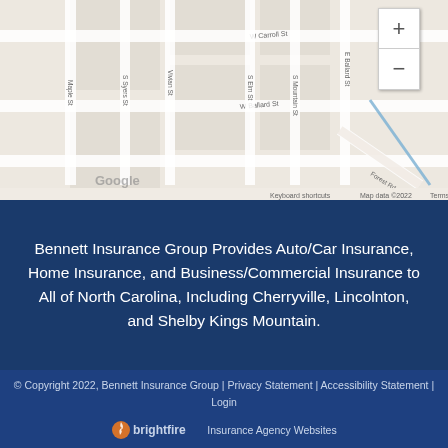[Figure (map): Google Maps street map showing local area with streets including W Carroll St, W Ballard St, S Syers St, Vivian St, S Elm St, S Mountain St, E Ballard St, Maple St, with zoom in/out controls in top right corner. Map footer shows Google branding, keyboard shortcuts, Map data ©2022, Terms of Use.]
Bennett Insurance Group Provides Auto/Car Insurance, Home Insurance, and Business/Commercial Insurance to All of North Carolina, Including Cherryville, Lincolnton, and Shelby Kings Mountain.
© Copyright 2022, Bennett Insurance Group | Privacy Statement | Accessibility Statement | Login
[Figure (logo): Brightfire logo with flame icon followed by text 'brightfire' and tagline 'Insurance Agency Websites']